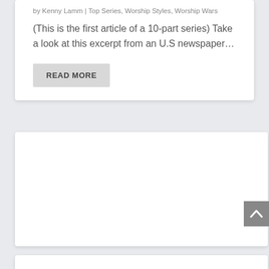by Kenny Lamm | Top Series, Worship Styles, Worship Wars
(This is the first article of a 10-part series) Take a look at this excerpt from an U.S newspaper…
READ MORE
[Figure (other): Empty white content card/advertisement placeholder box]
[Figure (other): Scroll-to-top button with upward caret arrow, gray background, positioned at right edge]
[Figure (other): Partial white card visible at bottom of page]